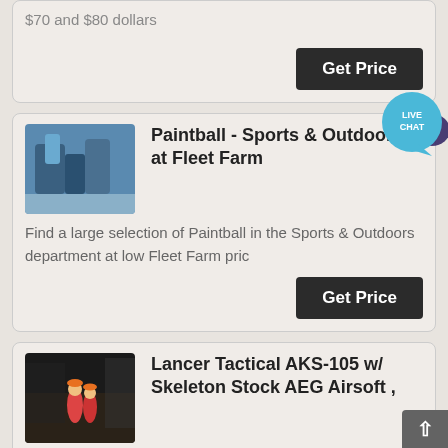$70 and $80 dollars
Get Price
[Figure (infographic): Live Chat speech bubble icon in teal/cyan color]
[Figure (photo): Industrial machinery/equipment photo]
Paintball - Sports & Outdoors at Fleet Farm
Find a large selection of Paintball in the Sports & Outdoors department at low Fleet Farm pric
Get Price
[Figure (photo): Workers in orange safety gear near industrial site]
Lancer Tactical AKS-105 w/ Skeleton Stock AEG Airsoft ,
The Lancer Tactical AKS-105 AEG is not your ordinary, of the mill. AK Lancer Tactical made sure to take their time